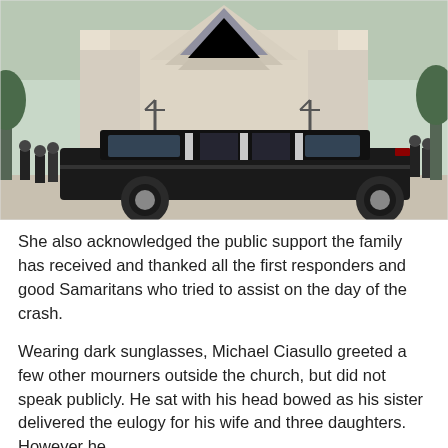[Figure (photo): A black hearse parked in front of a large modern church with white angular architecture. Several people dressed in black are gathered outside the church entrance. Trees are visible in the background.]
She also acknowledged the public support the family has received and thanked all the first responders and good Samaritans who tried to assist on the day of the crash.
Wearing dark sunglasses, Michael Ciasullo greeted a few other mourners outside the church, but did not speak publicly. He sat with his head bowed as his sister delivered the eulogy for his wife and three daughters. However he